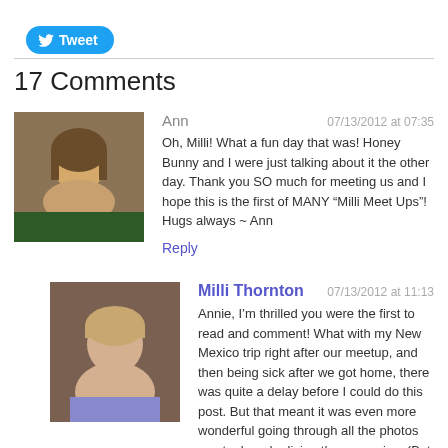[Figure (other): Twitter Tweet button with bird icon]
17 Comments
[Figure (photo): Avatar photo of Ann - woman with brown hair]
Ann  07/13/2012 at 07:35
Oh, Milli! What a fun day that was! Honey Bunny and I were just talking about it the other day. Thank you SO much for meeting us and I hope this is the first of MANY “Milli Meet Ups”! Hugs always ~ Ann
Reply
[Figure (photo): Avatar photo of Milli Thornton - smiling woman]
Milli Thornton  07/13/2012 at 11:13
Annie, I’m thrilled you were the first to read and comment! What with my New Mexico trip right after our meetup, and then being sick after we got home, there was quite a delay before I could do this post. But that meant it was even more wonderful going through all the photos you took and reliving the memories. (But dang it was hard choosing which great photos to use!)